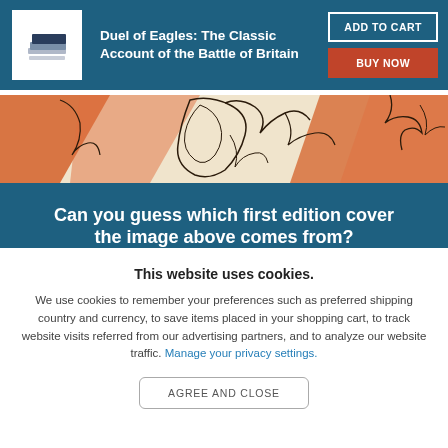[Figure (screenshot): Book header bar with book icon/logo, title text, and two buttons]
Duel of Eagles: The Classic Account of the Battle of Britain
ADD TO CART
BUY NOW
[Figure (illustration): Partial book cover image showing orange and cream abstract figurative illustration]
Can you guess which first edition cover the image above comes from?
This website uses cookies.
We use cookies to remember your preferences such as preferred shipping country and currency, to save items placed in your shopping cart, to track website visits referred from our advertising partners, and to analyze our website traffic. Manage your privacy settings.
AGREE AND CLOSE